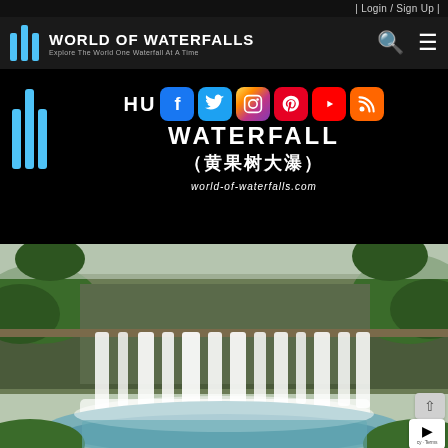| Login / Sign Up |
[Figure (logo): World of Waterfalls logo with three vertical bars and text: WORLD OF WATERFALLS, Explore The World One Waterfall At A Time, with search and menu icons]
[Figure (screenshot): Hero banner on black background showing World of Waterfalls logo bars, partial text HU...WATERFALL (黄果树大瀑), social media icons (Facebook, Twitter, Instagram, Pinterest, YouTube, RSS), and URL world-of-waterfalls.com]
[Figure (photo): Photograph of Huangguoshu Waterfall (黄果树大瀑布) - a wide, multi-stream waterfall cascading down a green cliff into a pool, surrounded by lush vegetation]